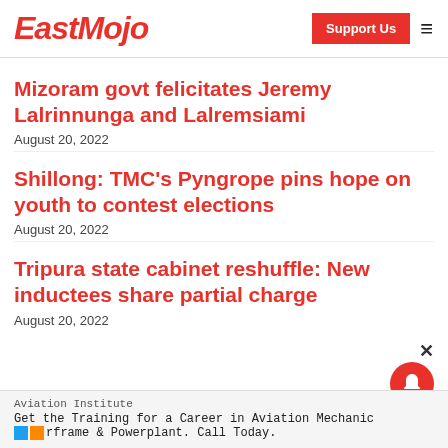EastMojo
Mizoram govt felicitates Jeremy Lalrinnunga and Lalremsiami
August 20, 2022
Shillong: TMC's Pyngrope pins hope on youth to contest elections
August 20, 2022
Tripura state cabinet reshuffle: New inductees share partial charge
August 20, 2022
Aviation Institute
Get the Training for a Career in Aviation Mechanic Airframe & Powerplant. Call Today.